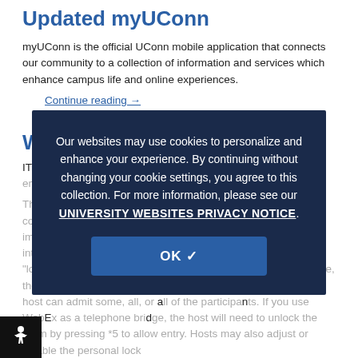Updated myUConn
myUConn is the official UConn mobile application that connects our community to a collection of information and services which enhance campus life and online experiences.
Continue reading →
Webex Security Threat
ITS is making a change to WebEx tonight, April 15, that will enable better protection. When ITS...
The incidence of uninvited and disruptive guests crashing video conferencing meetings has seen a sharp increase. ITS is implementing a change to protect participants against these intrusions. Starting tonight, all personal meeting rooms will be "locked" by default. When participants join the locked conference, they will wait in the "lobby" until admitted by the meeting host. A host can admit some, all, or all of the participants. If you use WebEx as a telephone bridge, the host will need to unlock the room by pressing *5 to allow entry. Hosts may also adjust or disable the personal lock
Our websites may use cookies to personalize and enhance your experience. By continuing without changing your cookie settings, you agree to this collection. For more information, please see our UNIVERSITY WEBSITES PRIVACY NOTICE.
OK ✓